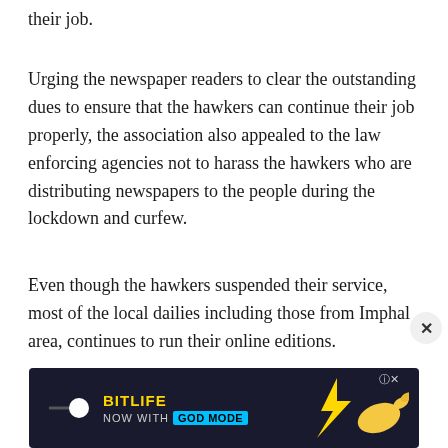their job.
Urging the newspaper readers to clear the outstanding dues to ensure that the hawkers can continue their job properly, the association also appealed to the law enforcing agencies not to harass the hawkers who are distributing newspapers to the people during the lockdown and curfew.
Even though the hawkers suspended their service, most of the local dailies including those from Imphal area, continues to run their online editions.
[Figure (screenshot): Advertisement banner for BitLife game with 'Now with GOD MODE' text, dark background with yellow text and hand illustration, with close (X) button above it.]